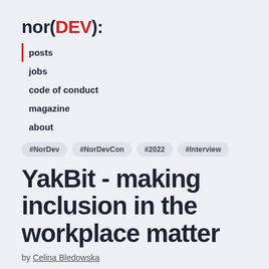nor(DEV):
posts
jobs
code of conduct
magazine
about
#NorDev  #NorDevCon  #2022  #Interview
YakBit - making inclusion in the workplace matter
by Celina Bledowska